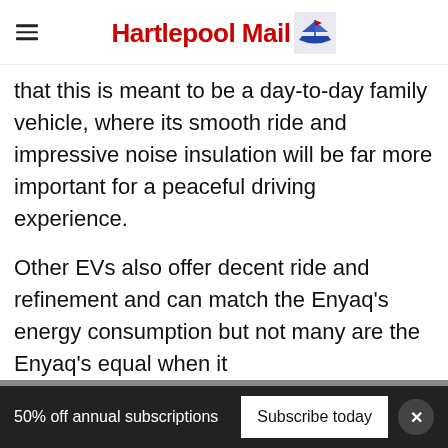Hartlepool Mail
that this is meant to be a day-to-day family vehicle, where its smooth ride and impressive noise insulation will be far more important for a peaceful driving experience.
Other EVs also offer decent ride and refinement and can match the Enyaq's energy consumption but not many are the Enyaq's equal when it comes to practicality, especially at this price.
A side look at the SUV: the Enyaq…
50% off annual subscriptions   Subscribe today